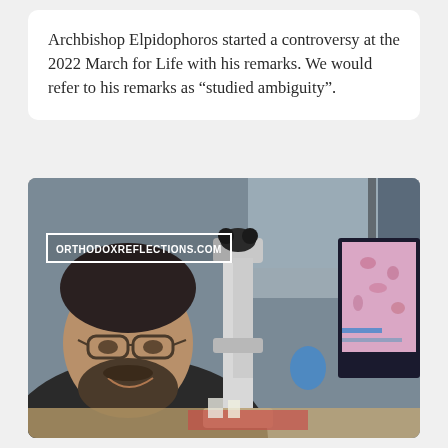Archbishop Elpidophoros started a controversy at the 2022 March for Life with his remarks. We would refer to his remarks as “studied ambiguity”.
[Figure (photo): A bearded man wearing glasses and a dark sweater sits in front of a microscope and a computer monitor displaying pathology slides. A watermark reads ORTHODOXREFLECTIONS.COM.]